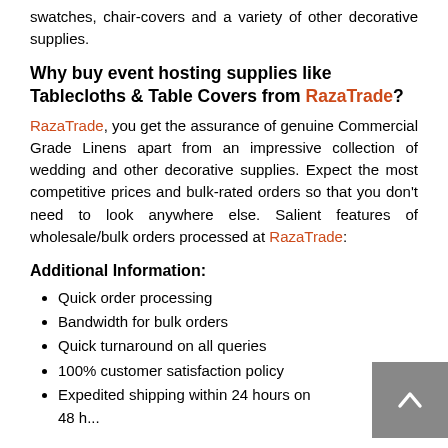swatches, chair-covers and a variety of other decorative supplies.
Why buy event hosting supplies like Tablecloths & Table Covers from RazaTrade?
RazaTrade, you get the assurance of genuine Commercial Grade Linens apart from an impressive collection of wedding and other decorative supplies. Expect the most competitive prices and bulk-rated orders so that you don't need to look anywhere else. Salient features of wholesale/bulk orders processed at RazaTrade:
Additional Information:
Quick order processing
Bandwidth for bulk orders
Quick turnaround on all queries
100% customer satisfaction policy
Expedited shipping within 24 hours on 48 h...